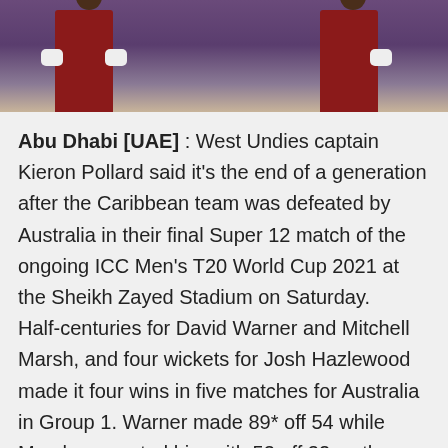[Figure (photo): Two West Indies cricket players in dark red/maroon uniforms with white gloves, photographed from torso/waist down against a purple stadium background]
Abu Dhabi [UAE] : West Undies captain Kieron Pollard said it's the end of a generation after the Caribbean team was defeated by Australia in their final Super 12 match of the ongoing ICC Men's T20 World Cup 2021 at the Sheikh Zayed Stadium on Saturday. Half-centuries for David Warner and Mitchell Marsh, and four wickets for Josh Hazlewood made it four wins in five matches for Australia in Group 1. Warner made 89* off 54 while Marsh supported him with 53 off 32 as they chased down the target of 158 with eight wickets and 22